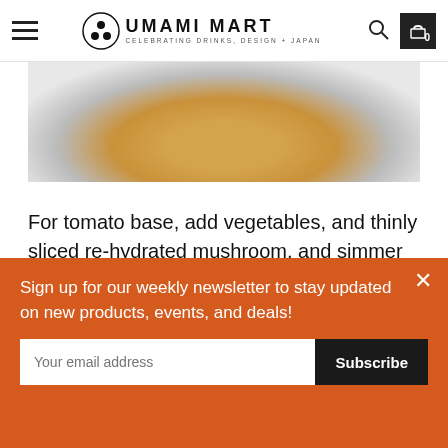Umami Mart — Celebrating Drinks, Design + Japan
[Figure (photo): Close-up top view of a bowl with golden/orange broth or liquid, rim visible at edges]
For tomato base, add vegetables, and thinly sliced re-hydrated mushroom, and simmer for about an hour.
[Figure (photo): Close-up top view of a pot with simmering dark red tomato-based sauce with bubbles]
Sign up for our weekly newsletter to stay updated on new products, events, and deals!